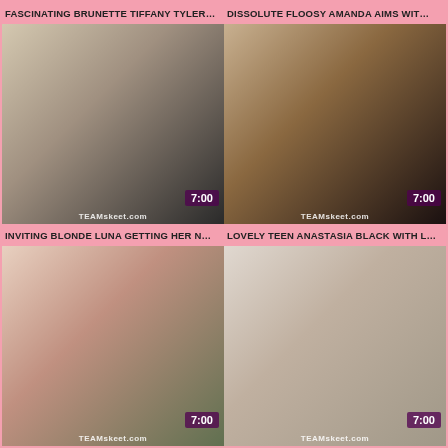FASCINATING BRUNETTE TIFFANY TYLER…
DISSOLUTE FLOOSY AMANDA AIMS WIT…
[Figure (photo): Video thumbnail showing two people, duration badge 7:00, watermark TEAMskeet.com]
[Figure (photo): Video thumbnail showing two people in classroom setting, duration badge 7:00, watermark TEAMskeet.com]
INVITING BLONDE LUNA GETTING HER N…
LOVELY TEEN ANASTASIA BLACK WITH L…
[Figure (photo): Video thumbnail showing woman in pink top outdoors, duration badge 7:00, watermark TEAMskeet.com]
[Figure (photo): Video thumbnail showing two people on bed, duration badge 7:00, watermark TEAMskeet.com]
DAZZLING BOOTY HOTTIE RACHAEL MA…
APPEALING SOPHIA LEONE IS BEING A R…